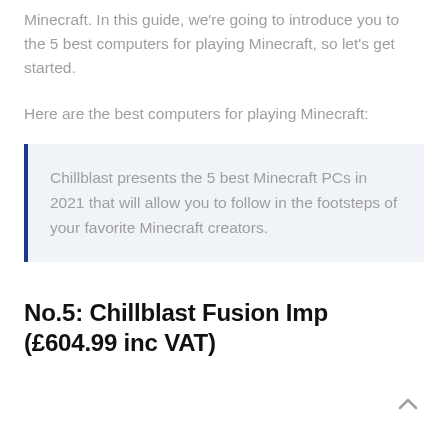Minecraft. In this guide, we're going to introduce you to the 5 best computers for playing Minecraft, so let's get started.
Here are the best computers for playing Minecraft:
Chillblast presents the 5 best Minecraft PCs in 2021 that will allow you to follow in the footsteps of your favorite Minecraft creators.
No.5: Chillblast Fusion Imp (£604.99 inc VAT)